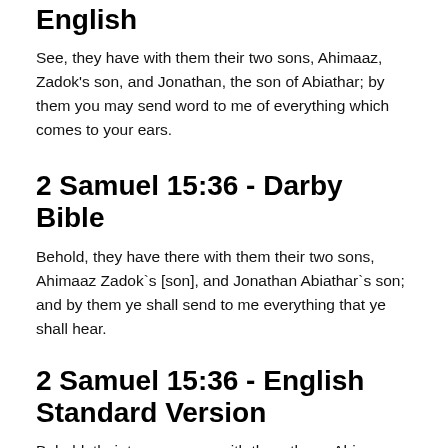English
See, they have with them their two sons, Ahimaaz, Zadok's son, and Jonathan, the son of Abiathar; by them you may send word to me of everything which comes to your ears.
2 Samuel 15:36 - Darby Bible
Behold, they have there with them their two sons, Ahimaaz Zadok`s [son], and Jonathan Abiathar`s son; and by them ye shall send to me everything that ye shall hear.
2 Samuel 15:36 - English Standard Version
Behold, their two sons are with them there, Ahimaaz, Zadok's son, and Jonathan, Abiathar's son, and by them